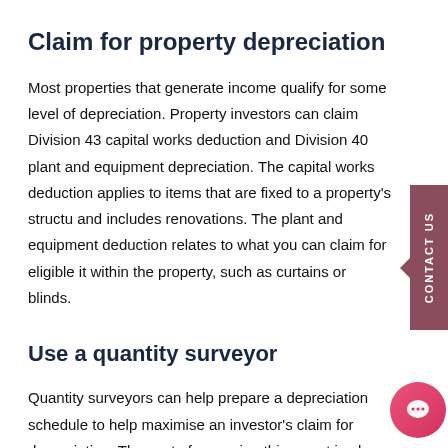Claim for property depreciation
Most properties that generate income qualify for some level of depreciation. Property investors can claim Division 43 capital works deduction and Division 40 plant and equipment depreciation. The capital works deduction applies to items that are fixed to a property's structure and includes renovations. The plant and equipment deduction relates to what you can claim for eligible items within the property, such as curtains or blinds.
Use a quantity surveyor
Quantity surveyors can help prepare a depreciation schedule to help maximise an investor's claim for depreciation. The cost of preparing this report is also